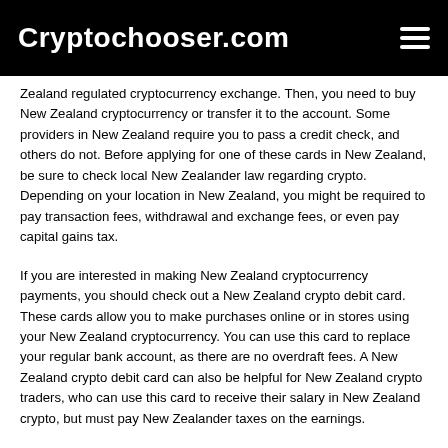Cryptochooser.com
Zealand regulated cryptocurrency exchange. Then, you need to buy New Zealand cryptocurrency or transfer it to the account. Some providers in New Zealand require you to pass a credit check, and others do not. Before applying for one of these cards in New Zealand, be sure to check local New Zealander law regarding crypto. Depending on your location in New Zealand, you might be required to pay transaction fees, withdrawal and exchange fees, or even pay capital gains tax.
If you are interested in making New Zealand cryptocurrency payments, you should check out a New Zealand crypto debit card. These cards allow you to make purchases online or in stores using your New Zealand cryptocurrency. You can use this card to replace your regular bank account, as there are no overdraft fees. A New Zealand crypto debit card can also be helpful for New Zealand crypto traders, who can use this card to receive their salary in New Zealand crypto, but must pay New Zealander taxes on the earnings.
Fees For New Zealand Crypto Debit Cards